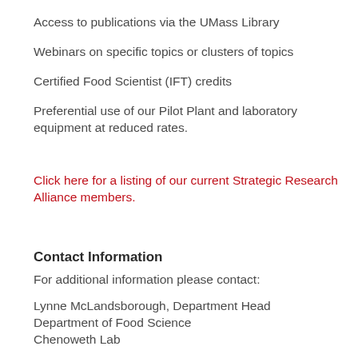Access to publications via the UMass Library
Webinars on specific topics or clusters of topics
Certified Food Scientist (IFT) credits
Preferential use of our Pilot Plant and laboratory equipment at reduced rates.
Click here for a listing of our current Strategic Research Alliance members.
Contact Information
For additional information please contact:
Lynne McLandsborough, Department Head
Department of Food Science
Chenoweth Lab